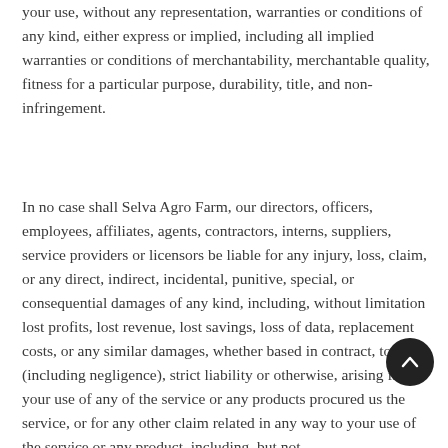your use, without any representation, warranties or conditions of any kind, either express or implied, including all implied warranties or conditions of merchantability, merchantable quality, fitness for a particular purpose, durability, title, and non-infringement.
In no case shall Selva Agro Farm, our directors, officers, employees, affiliates, agents, contractors, interns, suppliers, service providers or licensors be liable for any injury, loss, claim, or any direct, indirect, incidental, punitive, special, or consequential damages of any kind, including, without limitation lost profits, lost revenue, lost savings, loss of data, replacement costs, or any similar damages, whether based in contract, tort (including negligence), strict liability or otherwise, arising from your use of any of the service or any products procured us the service, or for any other claim related in any way to your use of the service or any product, including, but not